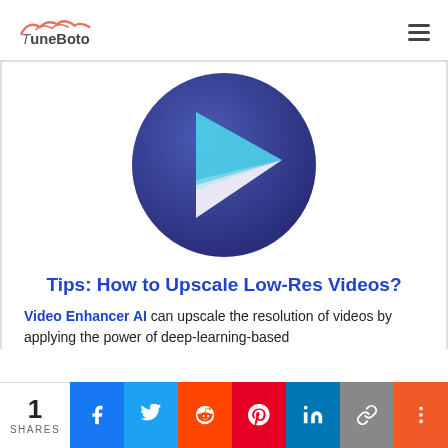TuneBoto
[Figure (logo): TuneBoto website logo with stylized bird/wave icon in coral/salmon color above the text 'TuneBoto' in dark gray]
[Figure (illustration): A circular dark navy/purple button with a triangular play icon composed of light blue and white segments, styled as a media player play button]
Tips: How to Upscale Low-Res Videos?
Video Enhancer AI can upscale the resolution of videos by applying the power of deep-learning-based
1 SHARES | Facebook | Twitter | Reddit | Pinterest | LinkedIn | Link | More